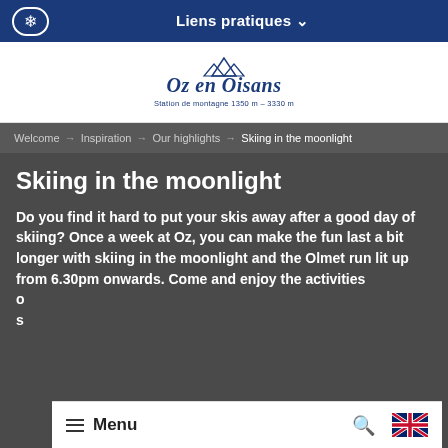Liens pratiques
[Figure (logo): Oz en Oisans mountain station logo with cursive text and mountain peaks, subtitle: Station de montagne 1350m - 3330m]
Welcome → Inspiration → Our highlights → Skiing in the moonlight
Skiing in the moonlight
Do you find it hard to put your skis away after a good day of skiing? Once a week at Oz, you can make the fun last a bit longer with skiing in the moonlight and the Olmet run lit up from 6.30pm onwards. Come and enjoy the activities o... s...
Menu